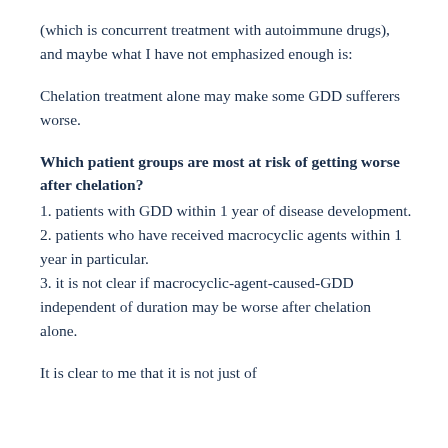(which is concurrent treatment with autoimmune drugs), and maybe what I have not emphasized enough is:
Chelation treatment alone may make some GDD sufferers worse.
Which patient groups are most at risk of getting worse after chelation?
1. patients with GDD within 1 year of disease development.
2. patients who have received macrocyclic agents within 1 year in particular.
3. it is not clear if macrocyclic-agent-caused-GDD independent of duration may be worse after chelation alone.
It is clear to me that it is not just of